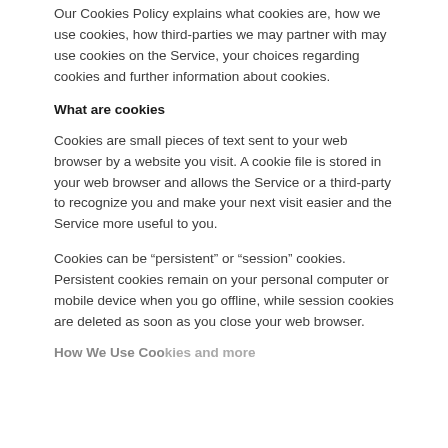Our Cookies Policy explains what cookies are, how we use cookies, how third-parties we may partner with may use cookies on the Service, your choices regarding cookies and further information about cookies.
What are cookies
Cookies are small pieces of text sent to your web browser by a website you visit. A cookie file is stored in your web browser and allows the Service or a third-party to recognize you and make your next visit easier and the Service more useful to you.
Cookies can be “persistent” or “session” cookies. Persistent cookies remain on your personal computer or mobile device when you go offline, while session cookies are deleted as soon as you close your web browser.
How We Use Cookies (heading partially visible)